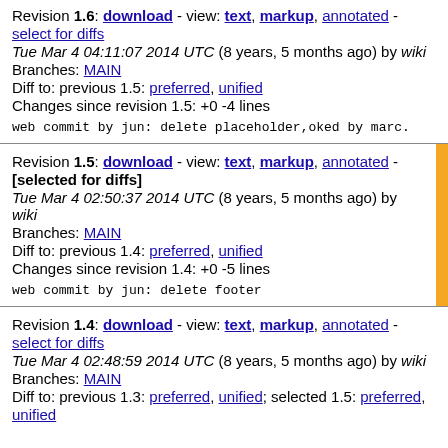Revision 1.6: download - view: text, markup, annotated - select for diffs
Tue Mar 4 04:11:07 2014 UTC (8 years, 5 months ago) by wiki
Branches: MAIN
Diff to: previous 1.5: preferred, unified
Changes since revision 1.5: +0 -4 lines

web commit by jun: delete placeholder,oked by marc.
Revision 1.5: download - view: text, markup, annotated - [selected for diffs]
Tue Mar 4 02:50:37 2014 UTC (8 years, 5 months ago) by wiki
Branches: MAIN
Diff to: previous 1.4: preferred, unified
Changes since revision 1.4: +0 -5 lines

web commit by jun: delete footer
Revision 1.4: download - view: text, markup, annotated - select for diffs
Tue Mar 4 02:48:59 2014 UTC (8 years, 5 months ago) by wiki
Branches: MAIN
Diff to: previous 1.3: preferred, unified; selected 1.5: preferred, unified